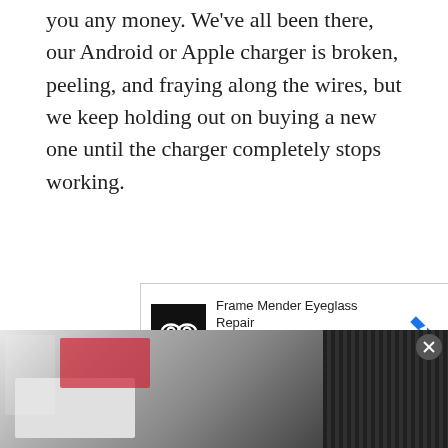you any money. We've all been there, our Android or Apple charger is broken, peeling, and fraying along the wires, but we keep holding out on buying a new one until the charger completely stops working.
[Figure (screenshot): Advertisement for Frame Mender Eyeglass Repair with logo, title, subtitle, and play/close icons]
Despite how common that practice may be, it's not good for your phone or your wallet. Many third-party USB chargers online can be for as little as under $10...
[Figure (photo): Hotel room advertisement banner at bottom of page showing a bed with red and white pillows]